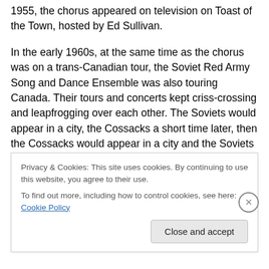1955, the chorus appeared on television on Toast of the Town, hosted by Ed Sullivan.

In the early 1960s, at the same time as the chorus was on a trans-Canadian tour, the Soviet Red Army Song and Dance Ensemble was also touring Canada. Their tours and concerts kept criss-crossing and leapfrogging over each other. The Soviets would appear in a city, the Cossacks a short time later, then the Cossacks would appear in a city and the Soviets later. When the Kostrukoff Cossacks sang after the Soviets, people would tell him and his chorus that they thought the Cossack chorus of 25
Privacy & Cookies: This site uses cookies. By continuing to use this website, you agree to their use.
To find out more, including how to control cookies, see here: Cookie Policy